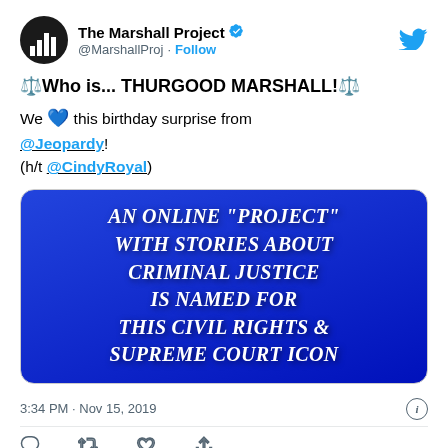[Figure (screenshot): Tweet from The Marshall Project (@MarshallProj) showing a Jeopardy clue about the Marshall Project named for Thurgood Marshall]
⚖️Who is... THURGOOD MARSHALL!⚖️
We 💙 this birthday surprise from @Jeopardy!
(h/t @CindyRoyal)
[Figure (photo): Jeopardy clue board with blue background reading: AN ONLINE "PROJECT" WITH STORIES ABOUT CRIMINAL JUSTICE IS NAMED FOR THIS CIVIL RIGHTS & SUPREME COURT ICON]
3:34 PM · Nov 15, 2019